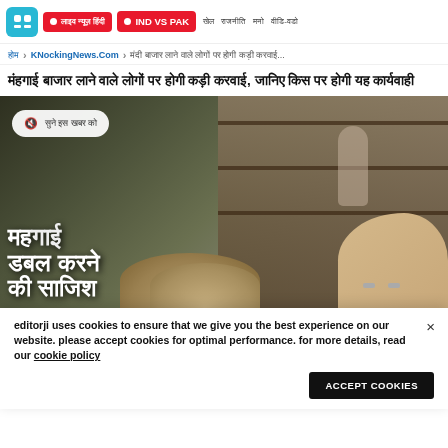editorji navigation bar with logo, live news buttons (Hindi text, IND VS PAK), and nav links
होम > KNockingNews.Com > मंदी बाजार लाने वाले लोगों पर होगी कड़ी करवाई...
मंहगाई बाजार लाने वाले लोगों पर होगी कड़ी करवाई, जानिए किस पर होगी यह कार्यवाही
[Figure (photo): Photo of an Indian grocery/spice market with a shopkeeper in background, overlaid with large Hindi text reading 'महंगाई डबल करने की साजिश' and an audio control button]
editorji uses cookies to ensure that we give you the best experience on our website. please accept cookies for optimal performance. for more details, read our cookie policy
ACCEPT COOKIES